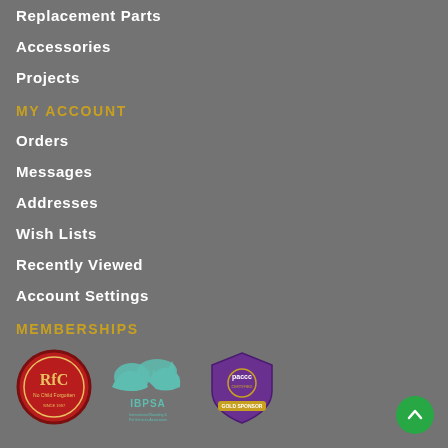Replacement Parts
Accessories
Projects
MY ACCOUNT
Orders
Messages
Addresses
Wish Lists
Recently Viewed
Account Settings
MEMBERSHIPS
[Figure (logo): Three membership logos: Realities for Children (circular red badge), IBPSA International Boarding and Pet Services Association (teal animal silhouettes logo), and PACCC (purple shield badge with gold sponsor designation)]